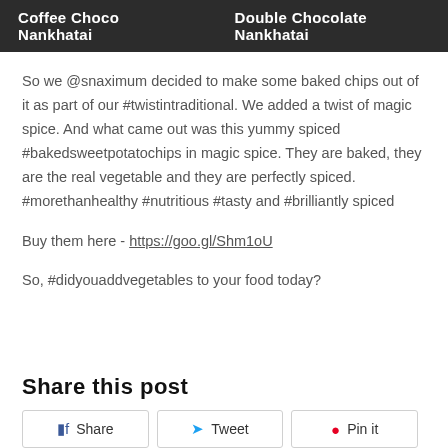Coffee Choco Nankhatai    Double Chocolate Nankhatai
So we @snaximum decided to make some baked chips out of it as part of our #twistintraditional. We added a twist of magic spice. And what came out was this yummy spiced #bakedsweetpotatochips in magic spice. They are baked, they are the real vegetable and they are perfectly spiced. #morethanhealthy #nutritious #tasty and #brilliantly spiced
Buy them here - https://goo.gl/Shm1oU
So, #didyouaddvegetables to your food today?
Share this post
Share   Tweet   Pin it